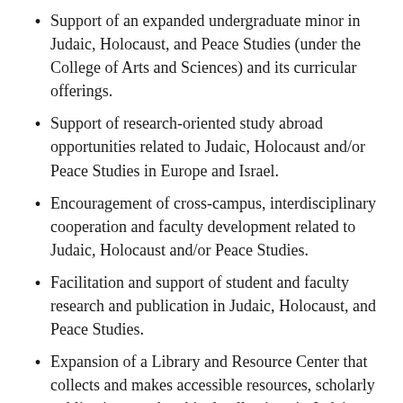Support of an expanded undergraduate minor in Judaic, Holocaust, and Peace Studies (under the College of Arts and Sciences) and its curricular offerings.
Support of research-oriented study abroad opportunities related to Judaic, Holocaust and/or Peace Studies in Europe and Israel.
Encouragement of cross-campus, interdisciplinary cooperation and faculty development related to Judaic, Holocaust and/or Peace Studies.
Facilitation and support of student and faculty research and publication in Judaic, Holocaust, and Peace Studies.
Expansion of a Library and Resource Center that collects and makes accessible resources, scholarly publications, and archival collections in Judaic…